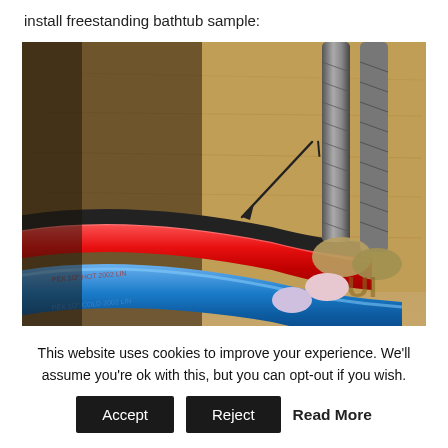install freestanding bathtub sample:
[Figure (photo): Close-up photograph of red and blue PEX water supply pipes connected to braided stainless steel flexible hoses, with a handwritten annotation arrow pointing to the connection area labeled 'lay', set against a wooden subfloor/plywood background. A copper pipe is visible along the bottom edge.]
This website uses cookies to improve your experience. We'll assume you're ok with this, but you can opt-out if you wish.
Accept   Reject   Read More